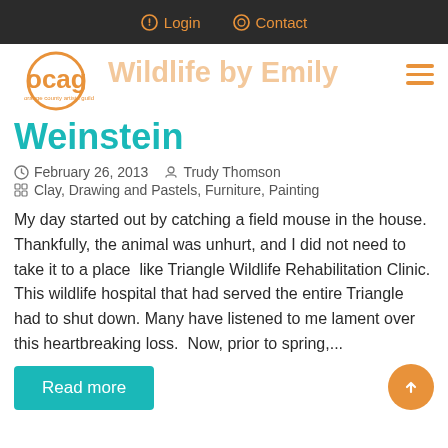Login   Contact
[Figure (logo): OCAG Orange County Artists Guild logo — orange circular letterform]
Wildlife by Emily Weinstein
February 26, 2013   Trudy Thomson
Clay, Drawing and Pastels, Furniture, Painting
My day started out by catching a field mouse in the house. Thankfully, the animal was unhurt, and I did not need to take it to a place  like Triangle Wildlife Rehabilitation Clinic. This wildlife hospital that had served the entire Triangle had to shut down. Many have listened to me lament over this heartbreaking loss.  Now, prior to spring,...
Read more